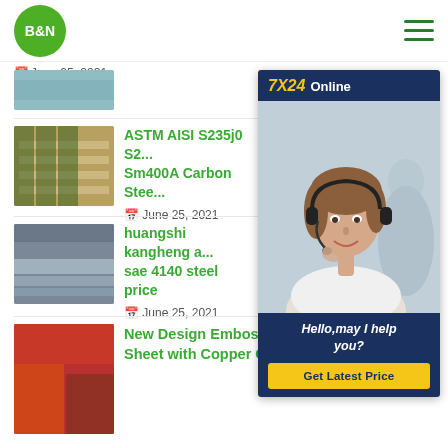[Figure (logo): B&N logo — white bold text on green circle]
B&N — navigation header with hamburger menu
June 25, 2021
ASTM AISI S235j0 S2... Sm400A Carbon Stee...
June 25, 2021
huangshi kangheng a... sae 4140 steel price
June 25, 2021
New Design Embossed Cold Rolled Steel Sheet with Copper Color RAC047
[Figure (infographic): Customer service overlay sidebar showing 7X24 Online banner, agent photo with headset, Hello may I help you text, Get Latest Price button]